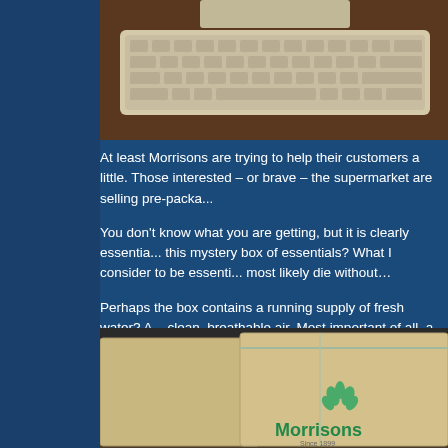[Figure (photo): Old beige computer keyboard on a wooden desk, top portion visible]
At least Morrisons are trying to help their customers a little. Those interested – or brave – the supermarket are selling pre-packa...
You don't know what you are getting, but it is clearly essentia... this mystery box of essentials? What I consider to be essenti... most likely die without…
Perhaps the box contains a running supply of fresh water? A... clean, breathable air. Most important of all, a subscription to...
[Figure (photo): Morrisons branded cardboard box with Morrisons logo and leaf design]